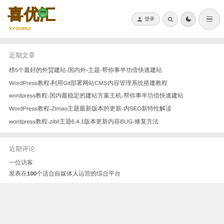[Figure (logo): 喜优汇 XYOUHUI logo with stylized Chinese characters in yellow/brown and a cartoon face]
登录 | 搜索 | 暗模式 | 菜单 navigation icons
近期文章
榜5个最好的外贸建站-国内外-主题-帮你事半功倍快速建站
WordPress教程-利用Git部署网站CMS内容管理系统搭建教程
wordpress教程-国内最稳定的建站方案主机-帮你事半功倍快速建站
WordPress教程-Ztmao主题最新版本的更新-内SEO新特性解读
wordpress教程-zibll主题6.4.1版本更新内容BUG-修复方法
近期评论
一位访客
发表在100个适合自媒体人运营的综合平台